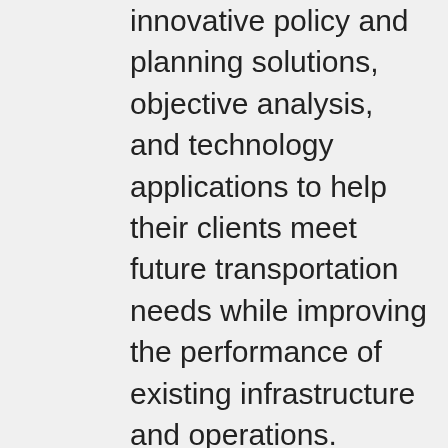innovative policy and planning solutions, objective analysis, and technology applications to help their clients meet future transportation needs while improving the performance of existing infrastructure and operations. Committed to its clients' success in making transportation better for future generations, Cambridge Systematics created and sponsors this award because it values the role of academic excellence in ensuring that it continues to staff the profession with individuals who have the level of